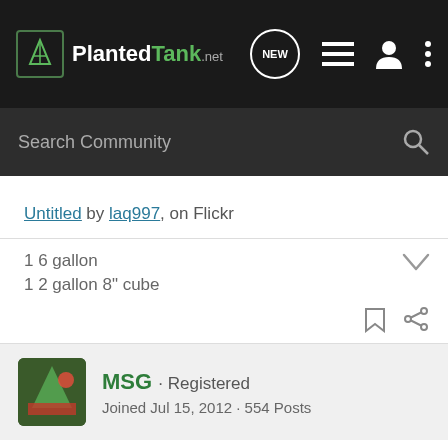PlantedTank.net — Search Community
Untitled by laq997, on Flickr
1 6 gallon
1 2 gallon 8" cube
MSG · Registered
Joined Jul 15, 2012 · 554 Posts
#2 · Jan 3, 2013